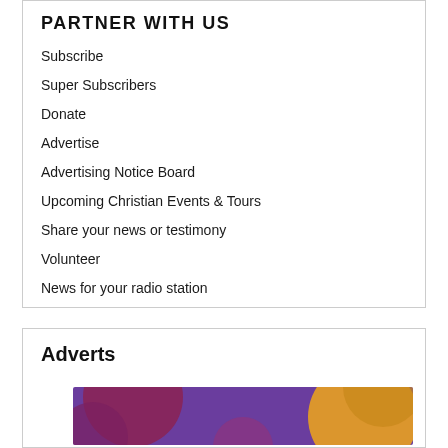PARTNER WITH US
Subscribe
Super Subscribers
Donate
Advertise
Advertising Notice Board
Upcoming Christian Events & Tours
Share your news or testimony
Volunteer
News for your radio station
Adverts
[Figure (photo): Purple, maroon, and golden-orange abstract background image for an advertisement]